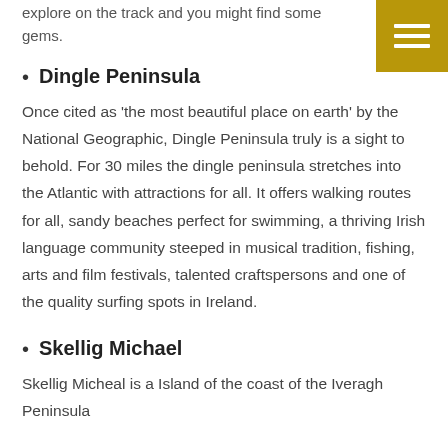explore on the track and you might find some gems.
Dingle Peninsula
Once cited as ‘the most beautiful place on earth’ by the National Geographic, Dingle Peninsula truly is a sight to behold.  For 30 miles the dingle peninsula stretches into the Atlantic with attractions for all.  It offers walking routes for all, sandy beaches perfect for swimming, a thriving Irish language community steeped in musical tradition,   fishing, arts and film festivals, talented craftspersons and one of the quality surfing spots in Ireland.
Skellig Michael
Skellig Micheal is a Island of the coast of the Iveragh Peninsula